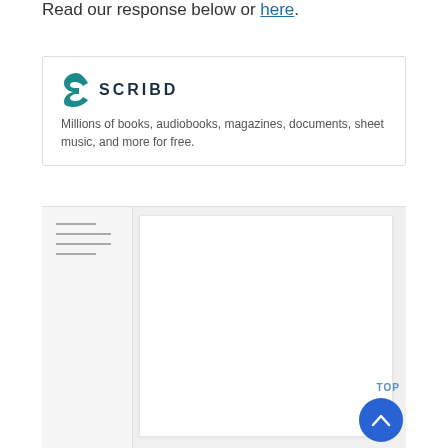Read our response below or here.
[Figure (screenshot): Scribd advertisement card showing Scribd logo with teal S icon and bold SCRIBD text, with tagline 'Millions of books, audiobooks, magazines, documents, sheet music, and more for free.' Below is a preview of a document page with hamburger menu lines visible, and a white content area. A blue circular button with an upward caret and 'TOP' label appears at the bottom right.]